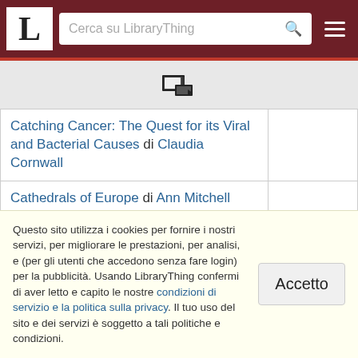LibraryThing - Cerca su LibraryThing
[Figure (logo): LibraryThing logo with stylized book icon]
| Title |  |
| --- | --- |
| Catching Cancer: The Quest for its Viral and Bacterial Causes di Claudia Cornwall |  |
| Cathedrals of Europe di Ann Mitchell |  |
| Cathedrals: A Hundred Jewels of European Architecture di Charlotte Behringer |  |
| Catholics and Communists in Twentieth-Century Italy: Between Conflict and Dialogue di Daniela Saresella |  |
Questo sito utilizza i cookies per fornire i nostri servizi, per migliorare le prestazioni, per analisi, e (per gli utenti che accedono senza fare login) per la pubblicità. Usando LibraryThing confermi di aver letto e capito le nostre condizioni di servizio e la politica sulla privacy. Il tuo uso del sito e dei servizi è soggetto a tali politiche e condizioni.